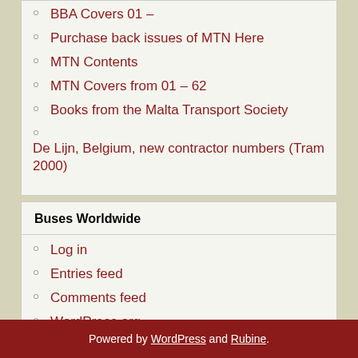BBA Covers 01 –
Purchase back issues of MTN Here
MTN Contents
MTN Covers from 01 – 62
Books from the Malta Transport Society
De Lijn, Belgium, new contractor numbers (Tram 2000)
Buses Worldwide
Log in
Entries feed
Comments feed
WordPress.org
Powered by WordPress and Rubine.